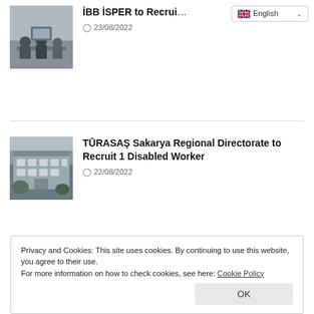[Figure (photo): Thumbnail photo of office meeting with people sitting around a table, silhouetted figures]
İBB İSPER to Recrui...
23/08/2022
[Figure (photo): Thumbnail photo of a building exterior, appears to be a regional directorate or institutional building]
TŪRASAŞ Sakarya Regional Directorate to Recruit 1 Disabled Worker
22/08/2022
Privacy and Cookies: This site uses cookies. By continuing to use this website, you agree to their use.
For more information on how to check cookies, see here: Cookie Policy